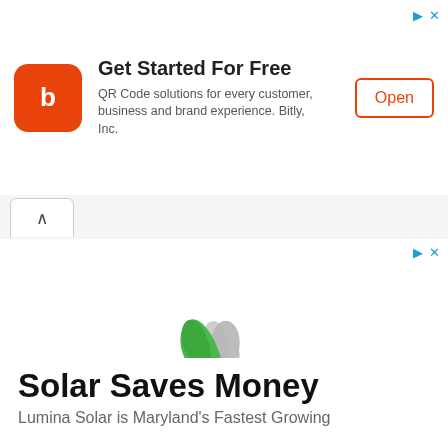[Figure (logo): Bitly orange square logo with 'b' icon]
Get Started For Free
QR Code solutions for every customer, business and brand experience. Bitly, Inc.
[Figure (logo): Lumina Solar logo with green and gray flame/leaf swirl icon and text LUMINA SOLAR]
Solar Saves Money
Lumina Solar is Maryland's Fastest Growing